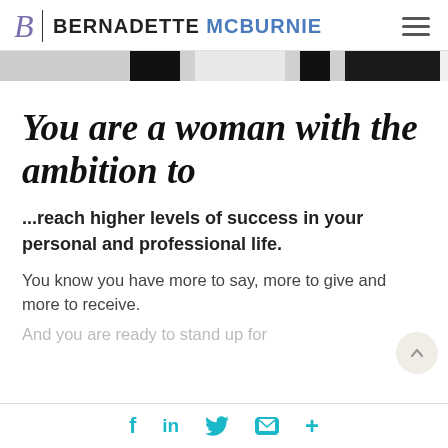B | BERNADETTE MCBURNIE
[Figure (photo): Partial view of a black and white photo strip showing a person, cropped at the top.]
You are a woman with the ambition to
...reach higher levels of success in your personal and professional life.
You know you have more to say, more to give and more to receive.
And you are ready to stand up for
f  in  (twitter)  (mail)  +